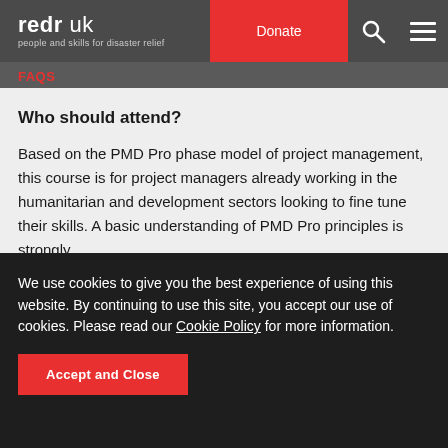redr uk — people and skills for disaster relief | Donate
FAQs
Who should attend?
Based on the PMD Pro phase model of project management, this course is for project managers already working in the humanitarian and development sectors looking to fine tune their skills. A basic understanding of PMD Pro principles is strongly
We use cookies to give you the best experience of using this website. By continuing to use this site, you accept our use of cookies. Please read our Cookie Policy for more information.
Accept and Close